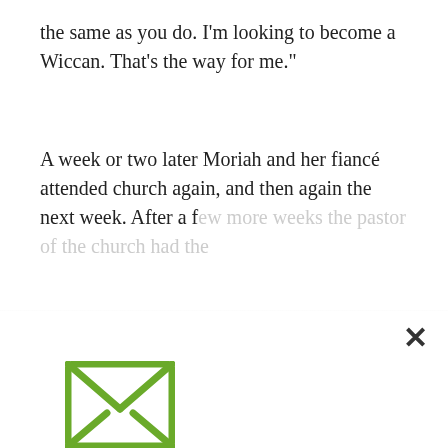the same as you do. I'm looking to become a Wiccan. That's the way for me."
A week or two later Moriah and her fiancé attended church again, and then again the next week. After a f...
[Figure (illustration): Email envelope icon in green with an X design on the envelope front]
Get Blog Updates By Email
Subscribe by email and we'll send you a message whenever a new story is posted.
SUBSCRIBE